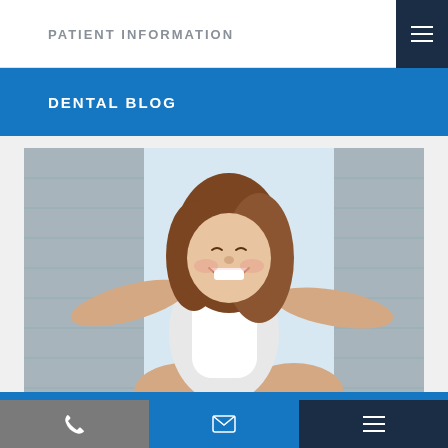PATIENT INFORMATION
DENTAL BLOG
[Figure (photo): A smiling young girl with brown hair, arms spread wide like airplane wings, being lifted up, wearing a white top, with a bright window and grey shutters in the background]
Phone | Email | Menu navigation icons